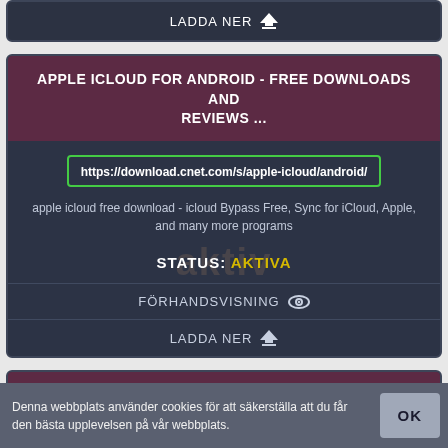LADDA NER
APPLE ICLOUD FOR ANDROID - FREE DOWNLOADS AND REVIEWS ...
https://download.cnet.com/s/apple-icloud/android/
apple icloud free download - icloud Bypass Free, Sync for iCloud, Apple, and many more programs
STATUS: AKTIVA
FÖRHANDSVISNING
LADDA NER
GARMIN EXPRESS FOR ANDROID - FREE DOWNLOADS AND
Denna webbplats använder cookies för att säkerställa att du får den bästa upplevelsen på vår webbplats.